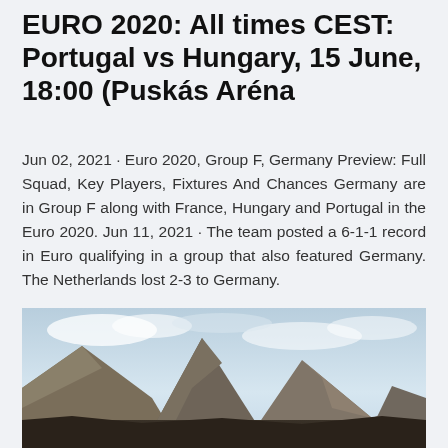EURO 2020: All times CEST: Portugal vs Hungary, 15 June, 18:00 (Puskás Aréna
Jun 02, 2021 · Euro 2020, Group F, Germany Preview: Full Squad, Key Players, Fixtures And Chances Germany are in Group F along with France, Hungary and Portugal in the Euro 2020. Jun 11, 2021 · The team posted a 6-1-1 record in Euro qualifying in a group that also featured Germany. The Netherlands lost 2-3 to Germany.
[Figure (photo): Landscape photo of mountains under a partly cloudy sky with dark foreground terrain.]